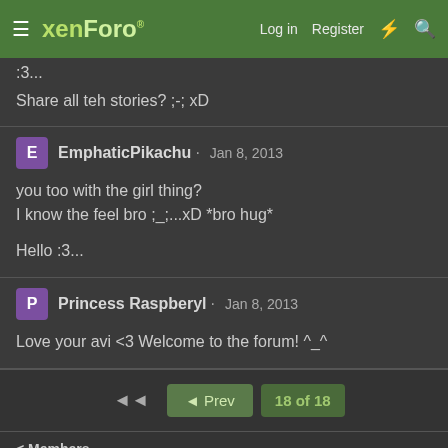xenForo · Log in · Register
:3...
Share all teh stories? ;-; xD
EmphaticPikachu · Jan 8, 2013
you too with the girl thing?
I know the feel bro ;_;...xD *bro hug*

Hello :3...
Princess Raspberyl · Jan 8, 2013
Love your avi <3 Welcome to the forum! ^_^
◄  ◄ Prev  18 of 18
< Members